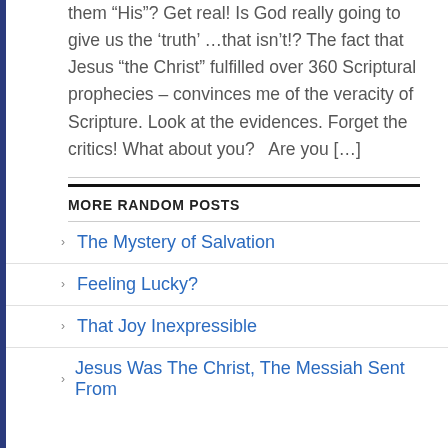them “His”? Get real! Is God really going to give us the ‘truth’ …that isn’t!? The fact that Jesus “the Christ” fulfilled over 360 Scriptural prophecies – convinces me of the veracity of Scripture. Look at the evidences. Forget the critics! What about you?   Are you […]
MORE RANDOM POSTS
The Mystery of Salvation
Feeling Lucky?
That Joy Inexpressible
Jesus Was The Christ, The Messiah Sent From